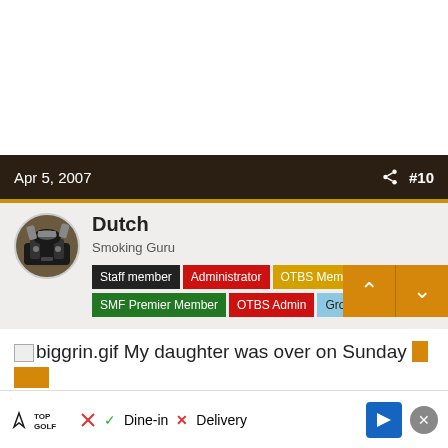Apr 5, 2007  #10
Dutch
Smoking Guru
Staff member  Administrator  OTBS Member
SMF Premier Member  OTBS Admin  Group Lead
biggrin.gif My daughter was over on Sunday to look at the baby pictures that I loaded on my laptop. She looked at some of them and said "Daddy, do you have..."